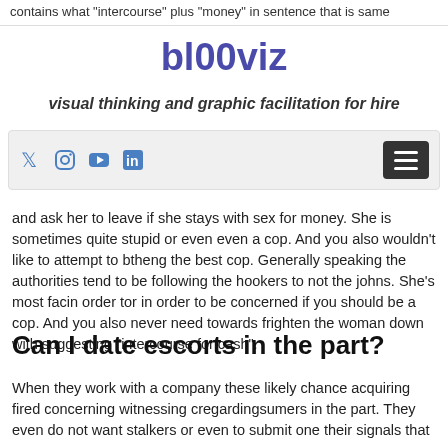contains what “intercourse” plus “money” in sentence that is same
bl00viz
visual thinking and graphic facilitation for hire
[Figure (screenshot): Navigation bar with social media icons (Twitter, Instagram, YouTube, LinkedIn) and a hamburger menu button on the right]
and ask her to leave if she stays with sex for money. She is sometimes quite stupid or even even a cop. And you also wouldn’t like to attempt to btheng the best cop. Generally speaking the authorities tend to be following the hookers to not the johns. She’s most facin order tor in order to be concerned if you should be a cop. And you also never need towards frighten the woman down with suggesting “intercourse for cash”.
Can I date escorts in the part?
When they work with a company these likely chance acquiring fired concerning witnessing cregardingsumers in the part. They even do not want stalkers or even to submit one their signals that are wrong.